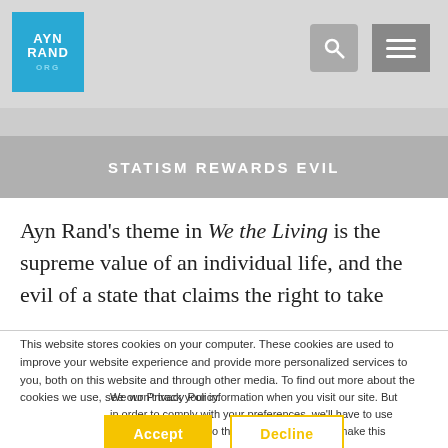AYN RAND ORG
STATISM REWARDS EVIL
Ayn Rand's theme in We the Living is the supreme value of an individual life, and the evil of a state that claims the right to take
This website stores cookies on your computer. These cookies are used to improve your website experience and provide more personalized services to you, both on this website and through other media. To find out more about the cookies we use, see our Privacy Policy.
We won't track your information when you visit our site. But in order to comply with your preferences, we'll have to use just one tiny cookie so that you're not asked to make this choice again.